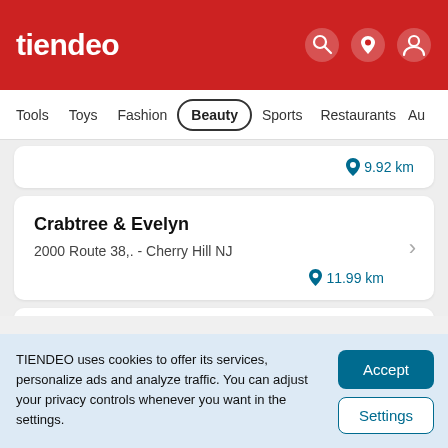tiendeo
Tools  Toys  Fashion  Beauty  Sports  Restaurants  Au
9.92 km
Crabtree & Evelyn
2000 Route 38,. - Cherry Hill NJ
11.99 km
Crabtree & Evelyn
TIENDEO uses cookies to offer its services, personalize ads and analyze traffic. You can adjust your privacy controls whenever you want in the settings.